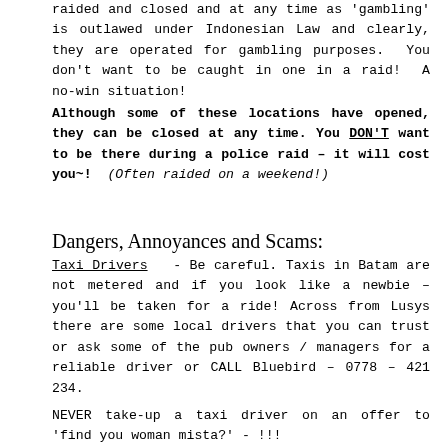raided and closed and at any time as 'gambling' is outlawed under Indonesian Law and clearly, they are operated for gambling purposes.  You don't want to be caught in one in a raid!  A no-win situation!
Although some of these locations have opened, they can be closed at any time. You DON'T want to be there during a police raid – it will cost you~!  (Often raided on a weekend!)
Dangers, Annoyances and Scams:
Taxi Drivers  - Be careful. Taxis in Batam are not metered and if you look like a newbie – you'll be taken for a ride! Across from Lusys there are some local drivers that you can trust or ask some of the pub owners / managers for a reliable driver or CALL Bluebird – 0778 – 421 234.
NEVER take-up a taxi driver on an offer to 'find you woman mista?' - !!!